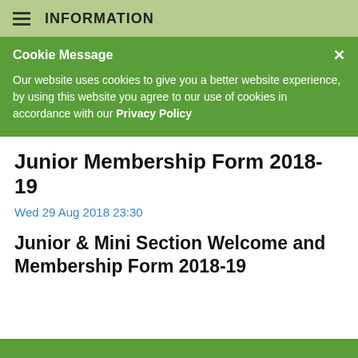INFORMATION
Cookie Message
Our website uses cookies to give you a better website experience, by using this website you agree to our use of cookies in accordance with our Privacy Policy
Junior Membership Form 2018-19
Wed 29 Aug 2018 23:30
Junior & Mini Section Welcome and Membership Form 2018-19